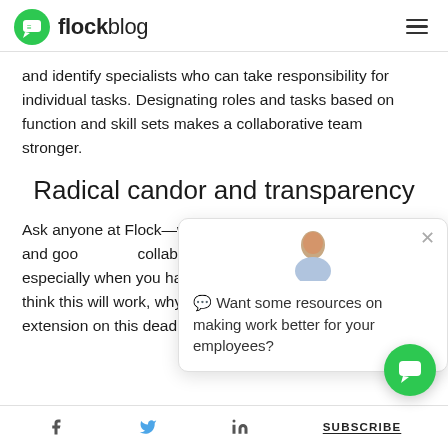flockblog
and identify specialists who can take responsibility for individual tasks. Designating roles and tasks based on function and skill sets makes a collaborative team stronger.
Radical candor and transparency
Ask anyone at Flock—w back opinions and gooc collaborative team. It’s i especially when you ha up. Saying “I don’t think this will work, why don’t we try this?” or “I need an extension on this deadline,”
[Figure (infographic): Chat popup with avatar photo of a woman, close button (X), and text: 'Want some resources on making work better for your employees?']
f  [twitter bird]  in  SUBSCRIBE